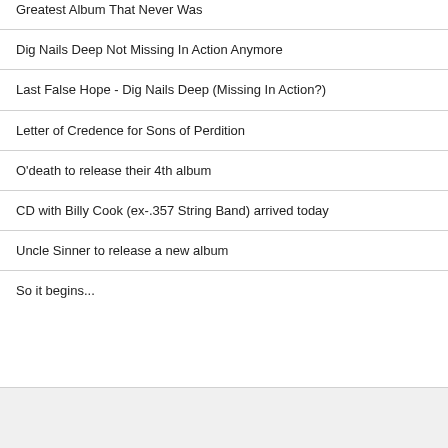Greatest Album That Never Was
Dig Nails Deep Not Missing In Action Anymore
Last False Hope - Dig Nails Deep (Missing In Action?)
Letter of Credence for Sons of Perdition
O'death to release their 4th album
CD with Billy Cook (ex-.357 String Band) arrived today
Uncle Sinner to release a new album
So it begins...